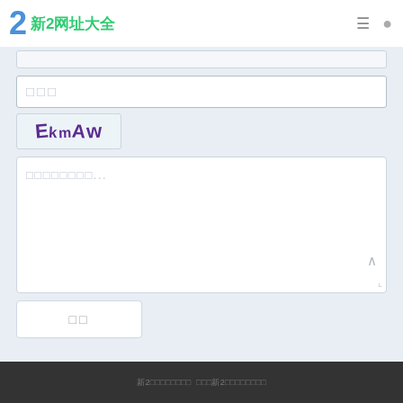新2网址大全
[Figure (screenshot): Web form interface with input fields, captcha (EkmAw), textarea, and submit button on light blue background]
新2网址导航大全  收录优质2网址导航大全